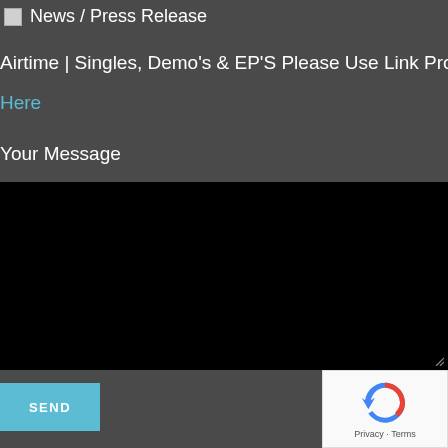News / Press Release
Airtime | Singles, Demo's & EP'S Please Use Link Provided
Here
Your Message
[Figure (other): Black textarea input box for message entry]
SEND
[Figure (other): reCAPTCHA widget with privacy and terms links]